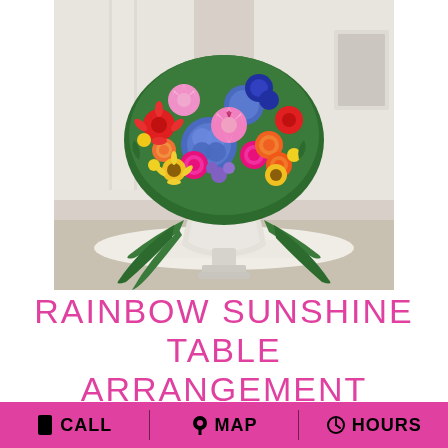[Figure (photo): A large, colorful floral arrangement in a white ornate urn vase on a round table. The arrangement features pink lilies, blue hydrangeas, hot pink roses, orange roses, red gerbera daisies, yellow sunflowers, purple flowers, and trailing green foliage cascading down the sides. The setting appears to be an elegant indoor venue with white walls and columns.]
RAINBOW SUNSHINE TABLE ARRANGEMENT
CALL   MAP   HOURS